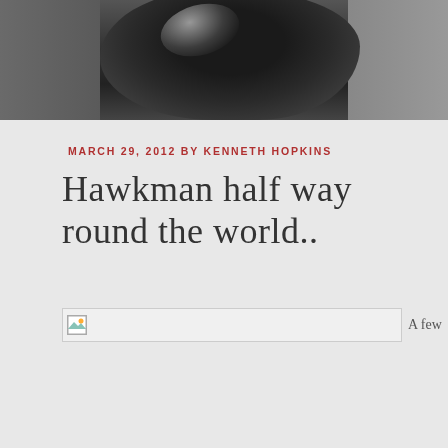[Figure (photo): Partial photo of a dark sculptural or organic object with reflective sheen, shot against a grey background, cropped at top of page]
MARCH 29, 2012 BY KENNETH HOPKINS
Hawkman half way round the world..
[Figure (photo): Broken image placeholder followed by text 'A few']